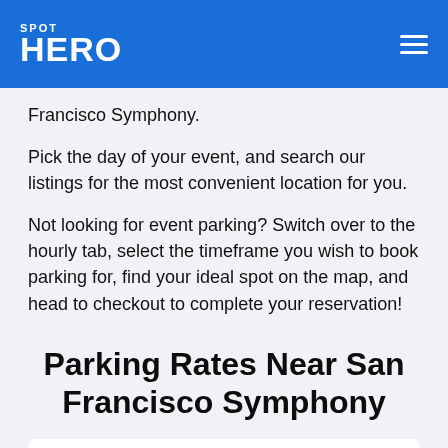SPOT HERO
Francisco Symphony.
Pick the day of your event, and search our listings for the most convenient location for you.
Not looking for event parking? Switch over to the hourly tab, select the timeframe you wish to book parking for, find your ideal spot on the map, and head to checkout to complete your reservation!
Parking Rates Near San Francisco Symphony
| Parking Type | SpotHero Average Price Offered |
| --- | --- |